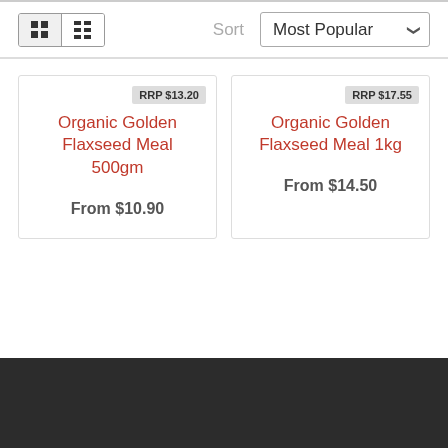[Figure (screenshot): View toggle buttons (grid and list) and Sort dropdown set to Most Popular]
RRP $13.20
Organic Golden Flaxseed Meal 500gm
From $10.90
RRP $17.55
Organic Golden Flaxseed Meal 1kg
From $14.50